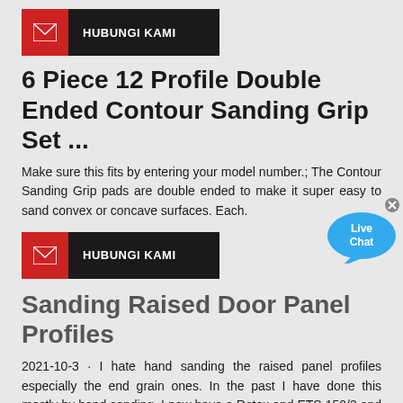[Figure (other): HUBUNGI KAMI button with red envelope icon on dark background]
6 Piece 12 Profile Double Ended Contour Sanding Grip Set ...
Make sure this fits by entering your model number.; The Contour Sanding Grip pads are double ended to make it super easy to sand convex or concave surfaces. Each.
[Figure (other): HUBUNGI KAMI button with red envelope icon on dark background]
[Figure (other): Live Chat bubble icon]
Sanding Raised Door Panel Profiles
2021-10-3 · I hate hand sanding the raised panel profiles especially the end grain ones. In the past I have done this mostly by hand sanding. I now have a Rotex and ETS 150/3 and was wondering if I purchased a soft pad for the ETS if this would help in the sanding of an ogee raised panel profile.
[Figure (other): HUBUNGI KAMI button with red envelope icon on dark background (partially visible)]